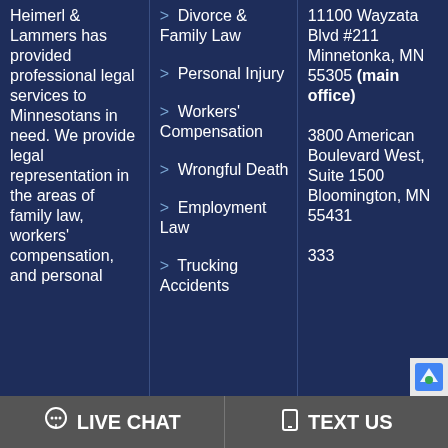Heimerl & Lammers has provided professional legal services to Minnesotans in need. We provide legal representation in the areas of family law, workers' compensation, and personal
> Divorce & Family Law
> Personal Injury
> Workers' Compensation
> Wrongful Death
> Employment Law
> Trucking Accidents
11100 Wayzata Blvd #211 Minnetonka, MN 55305 (main office)
3800 American Boulevard West, Suite 1500 Bloomington, MN 55431
333
LIVE CHAT   TEXT US